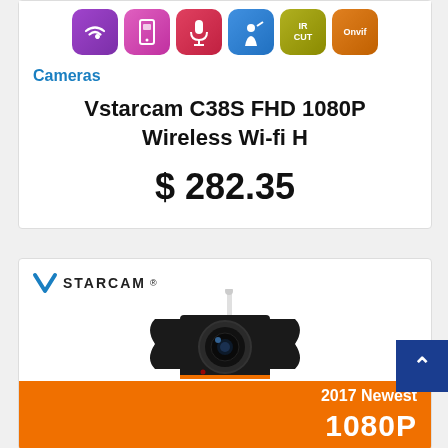[Figure (illustration): Row of 6 feature icons: WiFi (purple), mobile app (pink), microphone (red), motion detection (blue), IR-CUT (olive/yellow), ONVIF (orange)]
Cameras
Vstarcam C38S FHD 1080P Wireless Wi-fi H
$ 282.35
[Figure (photo): Second product card showing Vstarcam logo at top left, a black security camera with white antenna in center, and an orange banner at the bottom reading '2017 Newest 1080P'. A blue scroll-to-top button with upward arrow is on the right side.]